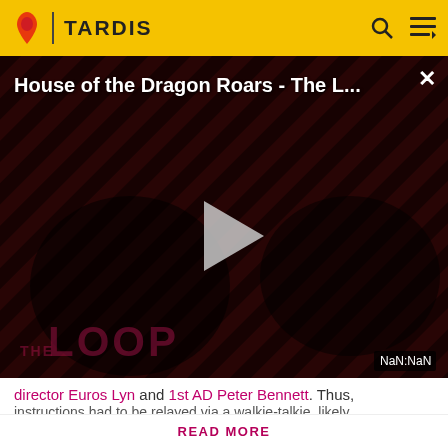TARDIS
[Figure (screenshot): Video player showing 'House of the Dragon Roars - The L...' with a play button in the center, diagonal stripe background pattern, two people visible in dark silhouette, THE LOOP text at bottom left, NaN:NaN timer badge at bottom right, and a close X button at top right.]
director Euros Lyn and 1st AD Peter Bennett. Thus, instructions had to be relayed via a walkie-talkie, likely
Spoilers are precisely defined here. Rules vary by the story's medium. Info from television stories can't be added here
READ MORE